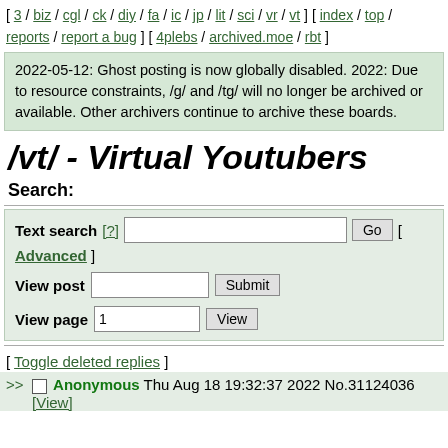[ 3 / biz / cgl / ck / diy / fa / ic / jp / lit / sci / vr / vt ] [ index / top / reports / report a bug ] [ 4plebs / archived.moe / rbt ]
2022-05-12: Ghost posting is now globally disabled. 2022: Due to resource constraints, /g/ and /tg/ will no longer be archived or available. Other archivers continue to archive these boards.
/vt/ - Virtual Youtubers
Search:
Text search [?] [ Advanced ]
View post
View page 1
[ Toggle deleted replies ]
>> Anonymous Thu Aug 18 19:32:37 2022 No.31124036 [View]